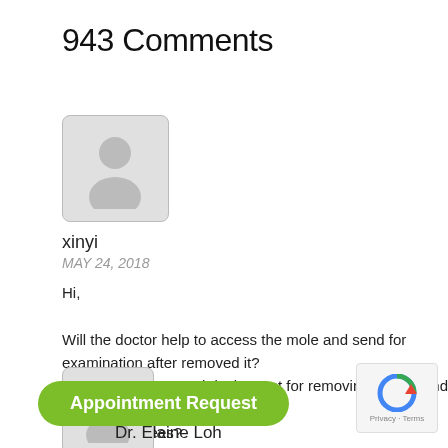943 Comments
[Figure (illustration): Generic user avatar placeholder icon — silhouette of a person, grey background, rounded rectangle border]
xinyi
MAY 24, 2018
Hi,

Will the doctor help to access the mole and send for examination after removed it?
May I know how much is the cost for removing 1 mole and all the incurred fees?
[Figure (illustration): Second user avatar placeholder icon — silhouette of a person, grey background, rounded rectangle border (partially visible)]
Appointment Request
Dr. Elaine Loh
[Figure (logo): Google reCAPTCHA badge with Privacy and Terms links]